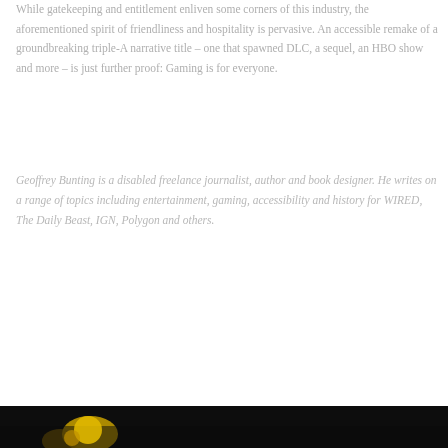While gatekeeping and entitlement enliven some corners of this industry, the aforementioned spirit of friendliness and hospitality is pervasive. An accessible remake of a groundbreaking triple-A narrative title – one that spawned DLC, a sequel, an HBO show and more – is just further proof: Gaming is for everyone.
Geoffrey Bunting is a disabled freelance journalist, author and book designer. He writes on a range of topics including entertainment, gaming, accessibility and history for WIRED, The Daily Beast, IGN, Polygon and others.
[Figure (photo): Dark image strip at the bottom of the page showing a partial view of what appears to be a gaming-related image with yellow/gold elements visible against a dark background.]